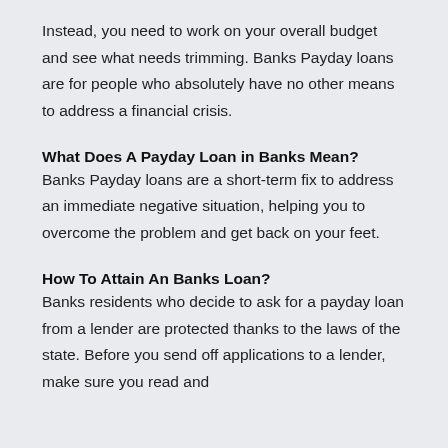Instead, you need to work on your overall budget and see what needs trimming. Banks Payday loans are for people who absolutely have no other means to address a financial crisis.
What Does A Payday Loan in Banks Mean?
Banks Payday loans are a short-term fix to address an immediate negative situation, helping you to overcome the problem and get back on your feet.
How To Attain An Banks Loan?
Banks residents who decide to ask for a payday loan from a lender are protected thanks to the laws of the state. Before you send off applications to a lender, make sure you read and